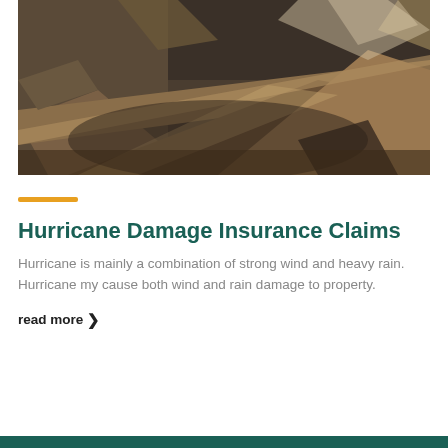[Figure (photo): Photograph of hurricane damage: debris, broken wooden boards, and destroyed structure interior scattered across the floor.]
Hurricane Damage Insurance Claims
Hurricane is mainly a combination of strong wind and heavy rain. Hurricane my cause both wind and rain damage to property.
read more ›